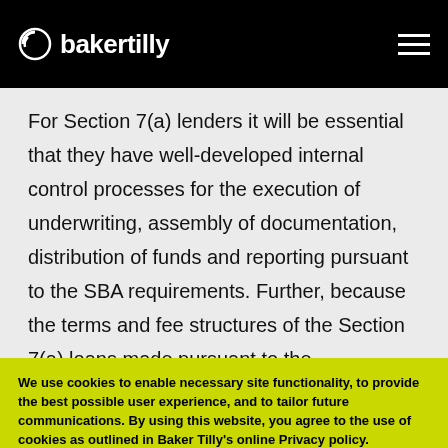bakertilly
For Section 7(a) lenders it will be essential that they have well-developed internal control processes for the execution of underwriting, assembly of documentation, distribution of funds and reporting pursuant to the SBA requirements. Further, because the terms and fee structures of the Section 7(a) loans made pursuant to the
We use cookies to enable necessary site functionality, to provide the best possible user experience, and to tailor future communications. By using this website, you agree to the use of cookies as outlined in Baker Tilly's online Privacy policy.
Yes  No  Cookies & tracking